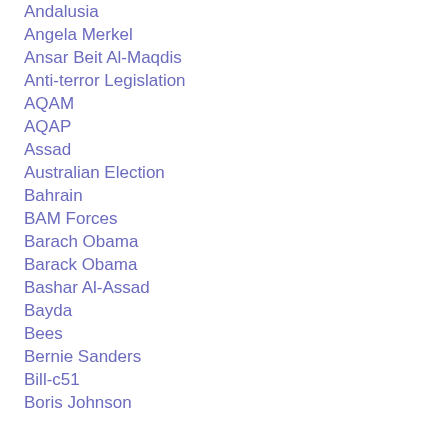Andalusia
Angela Merkel
Ansar Beit Al-Maqdis
Anti-terror Legislation
AQAM
AQAP
Assad
Australian Election
Bahrain
BAM Forces
Barach Obama
Barack Obama
Bashar Al-Assad
Bayda
Bees
Bernie Sanders
Bill-c51
Boris Johnson